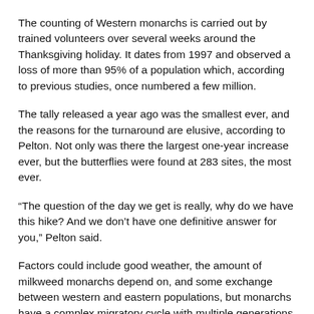The counting of Western monarchs is carried out by trained volunteers over several weeks around the Thanksgiving holiday. It dates from 1997 and observed a loss of more than 95% of a population which, according to previous studies, once numbered a few million.
The tally released a year ago was the smallest ever, and the reasons for the turnaround are elusive, according to Pelton. Not only was there the largest one-year increase ever, but the butterflies were found at 283 sites, the most ever.
“The question of the day we get is really, why do we have this hike? And we don’t have one definitive answer for you,” Pelton said.
Factors could include good weather, the amount of milkweed monarchs depend on, and some exchange between western and eastern populations, but monarchs have a complex migratory cycle with multiple generations over a complex landscape, a she declared